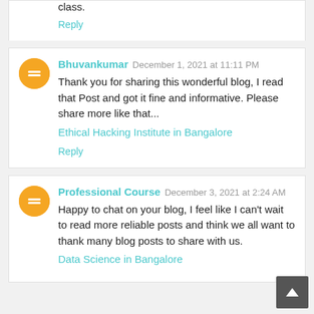class.
Reply
Bhuvankumar  December 1, 2021 at 11:11 PM
Thank you for sharing this wonderful blog, I read that Post and got it fine and informative. Please share more like that...
Ethical Hacking Institute in Bangalore
Reply
Professional Course  December 3, 2021 at 2:24 AM
Happy to chat on your blog, I feel like I can't wait to read more reliable posts and think we all want to thank many blog posts to share with us.
Data Science in Bangalore